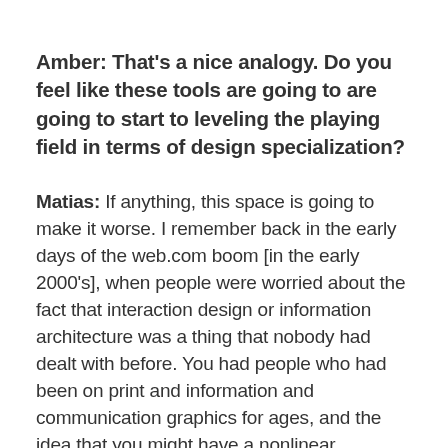Amber: That's a nice analogy. Do you feel like these tools are going to are going to start to leveling the playing field in terms of design specialization?
Matias: If anything, this space is going to make it worse. I remember back in the early days of the web.com boom [in the early 2000's], when people were worried about the fact that interaction design or information architecture was a thing that nobody had dealt with before. You had people who had been on print and information and communication graphics for ages, and the idea that you might have a nonlinear experience of text and images was completely foreign to them, and